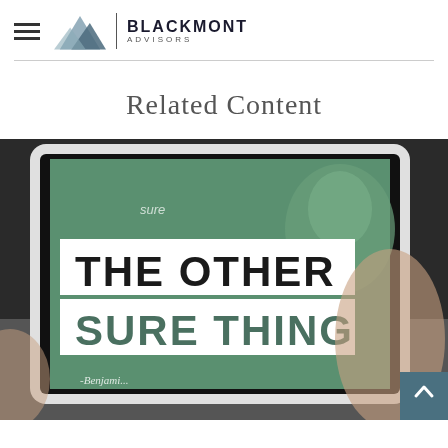Blackmont Advisors
Related Content
[Figure (photo): A tablet displaying a book cover or digital content about 'The Other Sure Thing' with a Benjamin Franklin image on a green background, held by a person's hand, with overlay text 'THE OTHER SURE THING' in bold white and dark teal letters on white background boxes.]